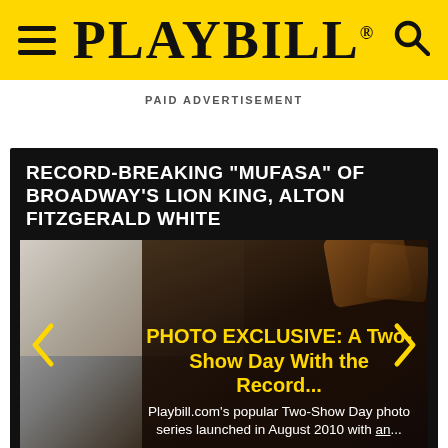PLAYBILL
PAID ADVERTISEMENT
RECORD-BREAKING "MUFASA" OF BROADWAY'S LION KING, ALTON FITZGERALD WHITE
[Figure (photo): Photo of Alton Fitzgerald White in Mufasa costume from The Lion King on Broadway, with overlay text about a Two-Show Day photo exclusive]
PHOTO EXCLUSIVE: A Two-Show Day With the Record...
Playbill.com's popular Two-Show Day photo series launched in August 2010 with an...